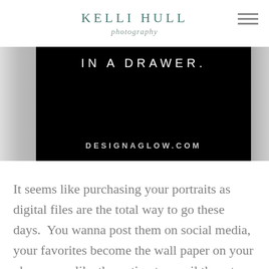KELLI HULL photography
[Figure (screenshot): Black banner image with white text reading 'IN A DRAWER.' and 'DESIGNAGLOW.COM' at the bottom, flanked by black-and-white portrait photo edges on left and right sides.]
It seems like purchasing your portraits as digital files are the total way to go these days.  You wanna post them on social media, your favorites become the wall paper on your phone, you like the option to email them to every single relative you have, and of course there's solid intentions